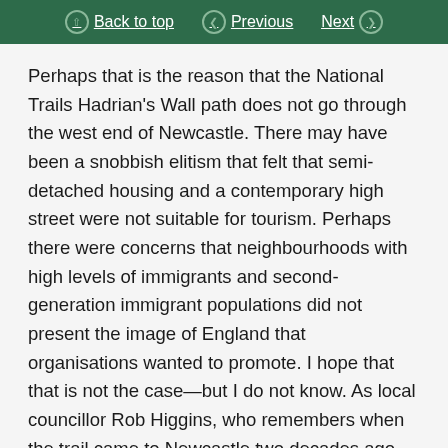Back to top | Previous | Next
Perhaps that is the reason that the National Trails Hadrian’s Wall path does not go through the west end of Newcastle. There may have been a snobbish elitism that felt that semi-detached housing and a contemporary high street were not suitable for tourism. Perhaps there were concerns that neighbourhoods with high levels of immigrants and second-generation immigrant populations did not present the image of England that organisations wanted to promote. I hope that that is not the case—but I do not know. As local councillor Rob Higgins, who remembers when the trail came to Newcastle two decades ago, puts it: “We were never consulted.”